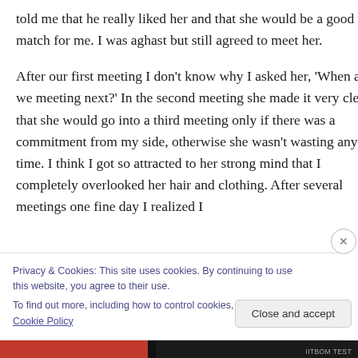told me that he really liked her and that she would be a good match for me. I was aghast but still agreed to meet her.
After our first meeting I don't know why I asked her, 'When are we meeting next?' In the second meeting she made it very clear that she would go into a third meeting only if there was a commitment from my side, otherwise she wasn't wasting any time. I think I got so attracted to her strong mind that I completely overlooked her hair and clothing. After several meetings one fine day I realized I
Privacy & Cookies: This site uses cookies. By continuing to use this website, you agree to their use.
To find out more, including how to control cookies, see here: Cookie Policy
Close and accept